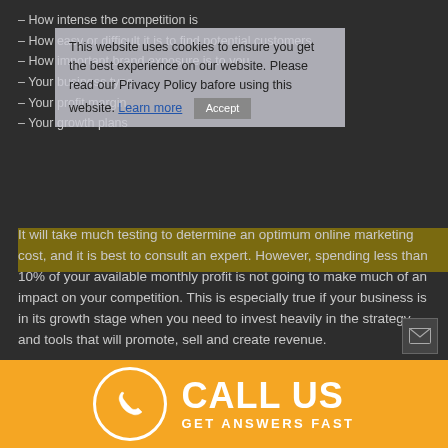– How intense the competition is
– How easy or difficult it is to find potential customers
– How important brand exposure is to you
– Your business type
– Your profit margin
– Your growth plans
It will take much testing to determine an optimum online marketing cost, and it is best to consult an expert. However, spending less than 10% of your available monthly profit is not going to make much of an impact on your competition. This is especially true if your business is in its growth stage when you need to invest heavily in the strategy and tools that will promote, sell and create revenue.
How much of your available profit do you re-invest in digital
[Figure (infographic): Orange footer bar with phone icon in a white circle and bold white text reading CALL US / GET ANSWERS FAST]